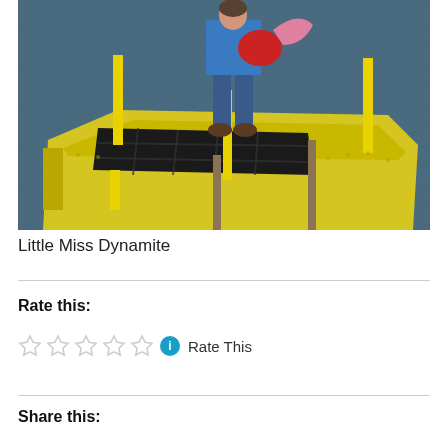[Figure (photo): A person wearing a blue jacket and jeans stands on a yellow floating dock platform with a black mat, holding a red bag and pink item. Dark water surrounds the dock with yellow poles.]
Little Miss Dynamite
Rate this:
Rate This
Share this: